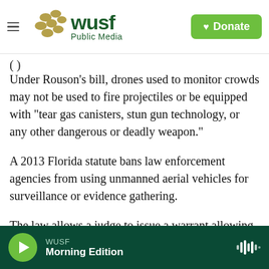WUSF Public Media — Donate
Under Rouson's bill, drones used to monitor crowds may not be used to fire projectiles or be equipped with “tear gas canisters, stun gun technology, or any other dangerous or deadly weapon.”
A 2013 Florida statute bans law enforcement agencies from using unmanned aerial vehicles for surveillance or evidence gathering.
The law allows a judge to issue a warrant allowing the use of drones if there is a “high risk of terrorist attack” or if officials fear someone is in imminent
WUSF Morning Edition